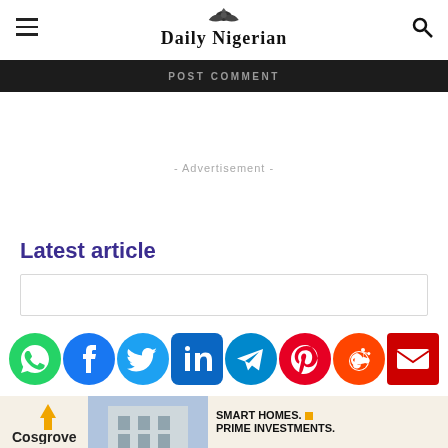Daily Nigerian
POST COMMENT
- Advertisement -
Latest article
[Figure (other): Social media sharing icons: WhatsApp, Facebook, Twitter, LinkedIn, Telegram, Pinterest, Reddit, Email]
[Figure (other): Cosgrove Real Estate advertisement banner with building image and text: SMART HOMES. PRIME INVESTMENTS.]